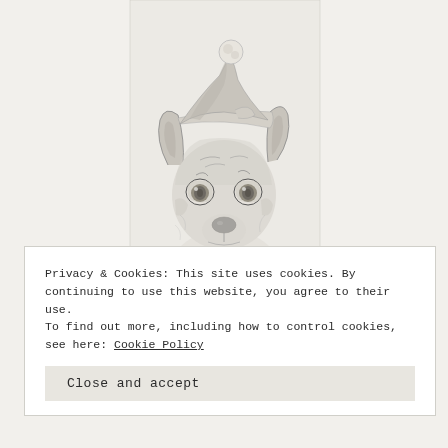[Figure (illustration): Pencil sketch illustration of a small dog (Chihuahua or similar breed) wearing a Santa hat, rendered in graphite on white paper. The dog has large expressive eyes and a wrinkled face. A small artist signature appears at the bottom of the illustration.]
Privacy & Cookies: This site uses cookies. By continuing to use this website, you agree to their use.
To find out more, including how to control cookies, see here: Cookie Policy
Close and accept